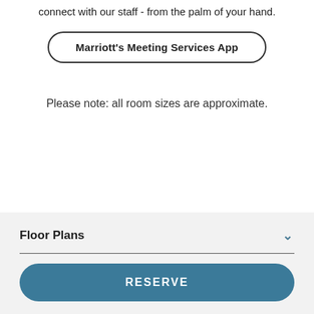connect with our staff - from the palm of your hand.
Marriott's Meeting Services App
Please note: all room sizes are approximate.
Floor Plans
RESERVE